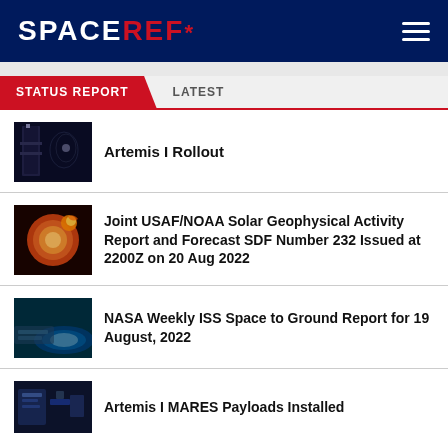SPACEREF*
STATUS REPORT   LATEST
Artemis I Rollout
Joint USAF/NOAA Solar Geophysical Activity Report and Forecast SDF Number 232 Issued at 2200Z on 20 Aug 2022
NASA Weekly ISS Space to Ground Report for 19 August, 2022
Artemis I MARES Payloads Installed